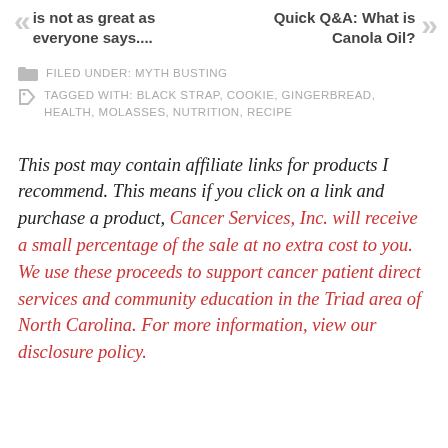is not as great as everyone says....
Quick Q&A: What is Canola Oil?
FILED UNDER: MYTH BUSTING
TAGGED WITH: BLACK STRAP, COOKIE, GINGERBREAD, HEALTH, MOLASSES, NUTRITION, RECIPE
This post may contain affiliate links for products I recommend. This means if you click on a link and purchase a product, Cancer Services, Inc. will receive a small percentage of the sale at no extra cost to you. We use these proceeds to support cancer patient direct services and community education in the Triad area of North Carolina. For more information, view our disclosure policy.